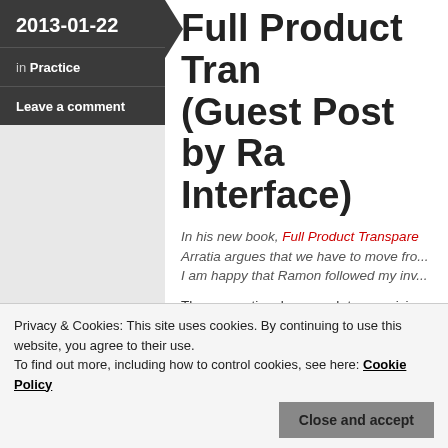2013-01-22
in Practice
Leave a comment
Full Product Transparency (Guest Post by Ramon Arratia, Interface)
In his new book, Full Product Transparency, Ramon Arratia argues that we have to move from... I am happy that Ramon followed my inv...
The conventional approach to exercising company's supply chain is to draft a com... audit for compliance using that documen... intentioned, the impact is inherently limit... dialogue and the teacher–student nature... questions questionnaire sent to supplier...
Privacy & Cookies: This site uses cookies. By continuing to use this website, you agree to their use.
To find out more, including how to control cookies, see here: Cookie Policy
Close and accept